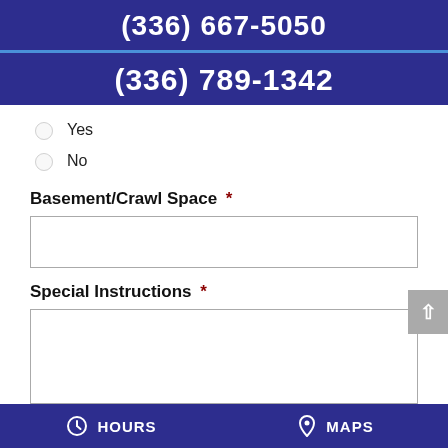(336) 667-5050
(336) 789-1342
Yes
No
Basement/Crawl Space *
Special Instructions *
HOURS   MAPS